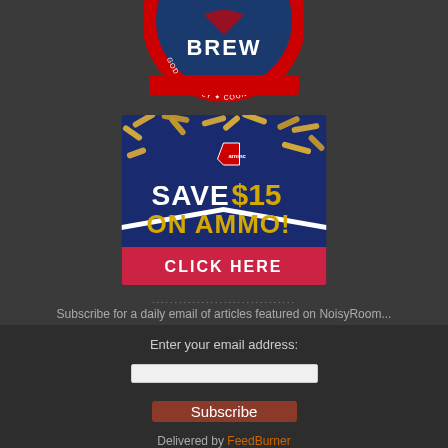[Figure (logo): Patriotic circular logo with text BREW and GOD FAMILY COUNTRY with stars on red/white/blue circular badge, partially cropped at top]
[Figure (advertisement): Ammo.com advertisement banner showing bullet casings on blue background with text SAVE $15 ON AMMO! and CLICK HERE button on red background]
................................
Subscribe for a daily email of articles featured on NoisyRoom...
Enter your email address:
Subscribe
Delivered by FeedBurner